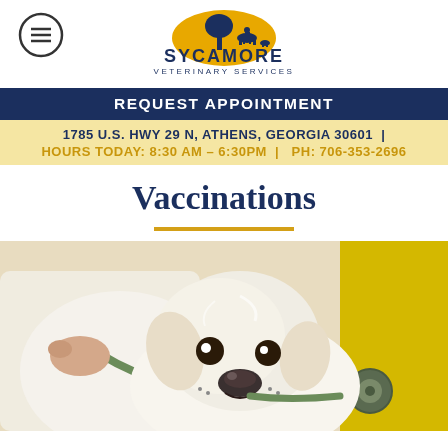[Figure (logo): Sycamore Veterinary Services logo with silhouette of tree and animals, text SYCAMORE VETERINARY SERVICES]
REQUEST APPOINTMENT
1785 U.S. HWY 29 N, ATHENS, GEORGIA 30601 |
HOURS TODAY: 8:30 AM – 6:30PM  |  PH: 706-353-2696
Vaccinations
[Figure (photo): White golden retriever puppy being examined by a veterinarian holding a stethoscope, yellow background]